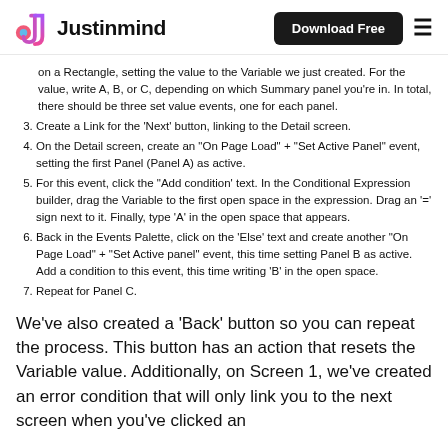Justinmind — Download Free
on a Rectangle, setting the value to the Variable we just created. For the value, write A, B, or C, depending on which Summary panel you're in. In total, there should be three set value events, one for each panel.
3. Create a Link for the 'Next' button, linking to the Detail screen.
4. On the Detail screen, create an "On Page Load" + "Set Active Panel" event, setting the first Panel (Panel A) as active.
5. For this event, click the "Add condition' text. In the Conditional Expression builder, drag the Variable to the first open space in the expression. Drag an '=' sign next to it. Finally, type 'A' in the open space that appears.
6. Back in the Events Palette, click on the 'Else' text and create another "On Page Load" + "Set Active panel" event, this time setting Panel B as active. Add a condition to this event, this time writing 'B' in the open space.
7. Repeat for Panel C.
We've also created a 'Back' button so you can repeat the process. This button has an action that resets the Variable value. Additionally, on Screen 1, we've created an error condition that will only link you to the next screen when you've clicked an